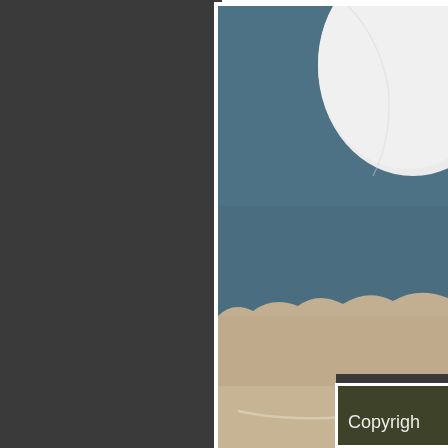[Figure (photo): Partial view of a bird (feet/claws visible) perched on a sandy/rocky surface with a large white egg, against a teal/slate blue background. Watermark reads '© GMCPhotographics' in white text at the bottom.]
[Figure (photo): Partial view of a second photo in the bottom-right corner showing a dark olive/green background with partial white text reading 'Copyrigh' (cut off).]